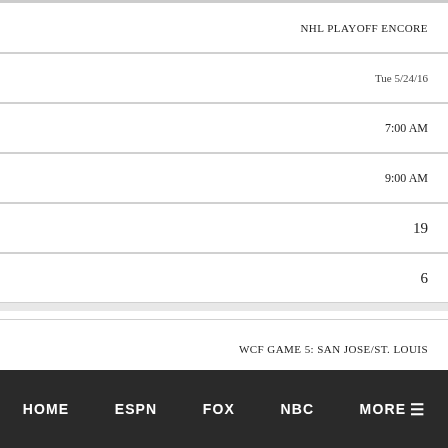NHL PLAYOFF ENCORE
Tue 5/24/16
7:00 AM
9:00 AM
19
6
WCF GAME 5: SAN JOSE/ST. LOUIS
131
HOME   ESPN   FOX   NBC   MORE